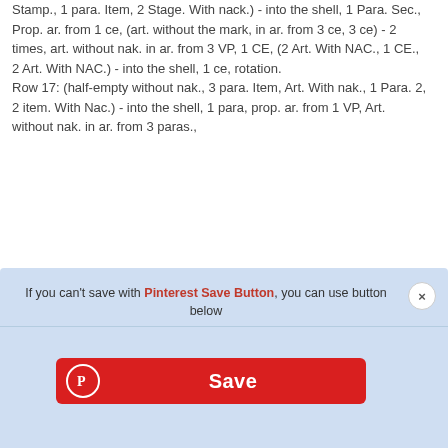Stamp., 1 para. Item, 2 Stage. With nack.) - into the shell, 1 Para. Sec., Prop. ar. from 1 ce, (art. without the mark, in ar. from 3 ce, 3 ce) - 2 times, art. without nak. in ar. from 3 VP, 1 CE, (2 Art. With NAC., 1 CE., 2 Art. With NAC.) - into the shell, 1 ce, rotation.
Row 17: (half-empty without nak., 3 para. Item, Art. With nak., 1 Para. 2, 2 item. With Nac.) - into the shell, 1 para, prop. ar. from 1 VP, Art. without nak. in ar. from 3 paras.,
[Figure (screenshot): Pinterest Save Button overlay dialog with blue background, showing notice text 'If you can't save with Pinterest Save Button, you can use button below', a red Save button with Pinterest logo icon, and an X close button.]
nak., 1 ce, 2 stage. With nak.) - into a shell, (2 art. With nak, 1 century. p., 2 items. with nak.) - in a trace. seashell. Cut the thread, fasten the
front half of the panties
[Figure (photo): Photo of hands holding red crochet lacework in progress, showing red yarn crocheted into a delicate lace pattern.]